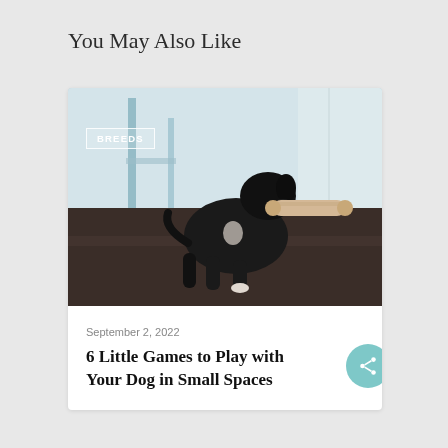You May Also Like
[Figure (photo): A small black dog carrying a cardboard tube in its mouth, standing on a dark wooden floor with a blurred indoor background.]
September 2, 2022
6 Little Games to Play with Your Dog in Small Spaces